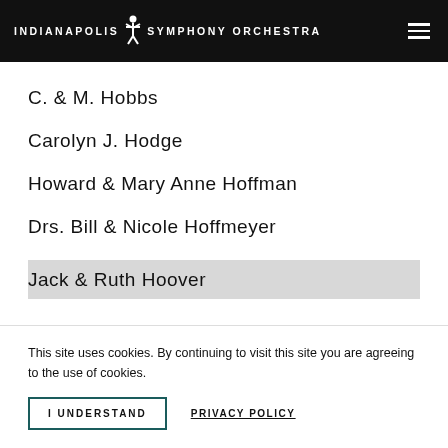Indianapolis Symphony Orchestra
C. & M. Hobbs
Carolyn J. Hodge
Howard & Mary Anne Hoffman
Drs. Bill & Nicole Hoffmeyer
Jack & Ruth Hoover
This site uses cookies. By continuing to visit this site you are agreeing to the use of cookies.
I UNDERSTAND   PRIVACY POLICY